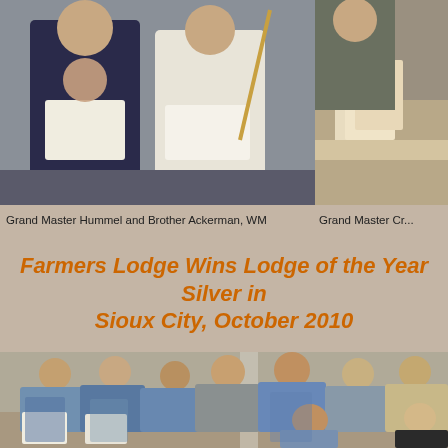[Figure (photo): Two men in Masonic regalia with aprons, one wearing a decorative collar, standing together indoors]
[Figure (photo): Partial view of a person at a desk with binders/folders, Grand Master Craft related]
Grand Master Hummel and Brother Ackerman, WM
Grand Master Cr...
Farmers Lodge Wins Lodge of the Year Silver in Sioux City, October 2010
[Figure (photo): Group photo of men wearing overalls and Masonic aprons, posing together in two rows inside a lodge hall]